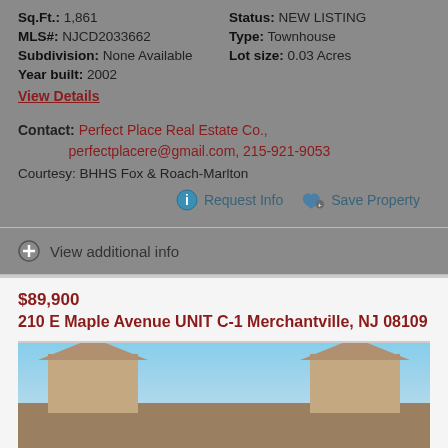Sq.Ft.: 1,861
Status: NEW LISTING
MLS#: NJCD2033662
Type: Townhouse
Subdivision: None Available
Lot size: 0.03 Acres
Year built: 2002
View Details
Contact: Perfect Place Real Estate Co., perfectplacere@gmail.com, 215-921-9053
Courtesy: BHHS Fox & Roach-Marlton
Request Info
Save Property
View additional info
$89,900
210 E Maple Avenue UNIT C-1 Merchantville, NJ 08109
[Figure (photo): Exterior photo of a townhouse building with a light brown facade and roof, blue sky background]